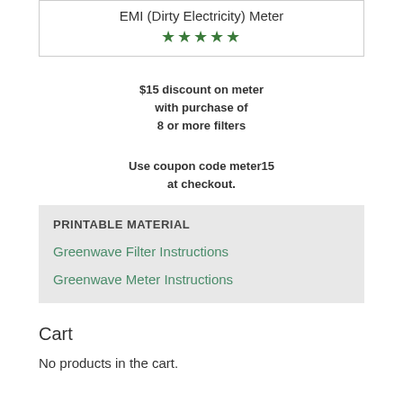EMI (Dirty Electricity) Meter
$15 discount on meter with purchase of 8 or more filters
Use coupon code meter15 at checkout.
PRINTABLE MATERIAL
Greenwave Filter Instructions
Greenwave Meter Instructions
Cart
No products in the cart.